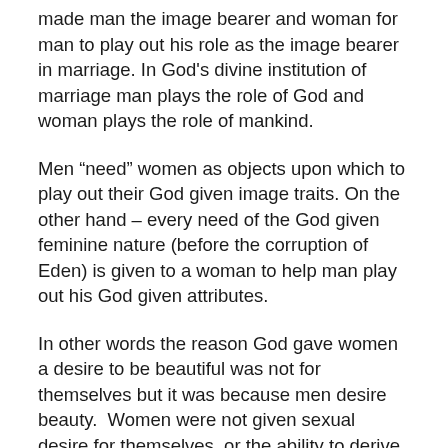made man the image bearer and woman for man to play out his role as the image bearer in marriage. In God's divine institution of marriage man plays the role of God and woman plays the role of mankind.
Men “need” women as objects upon which to play out their God given image traits. On the other hand – every need of the God given feminine nature (before the corruption of Eden) is given to a woman to help man play out his God given attributes.
In other words the reason God gave women a desire to be beautiful was not for themselves but it was because men desire beauty.  Women were not given sexual desire for themselves, or the ability to derive sexual pleasure for themselves.  They were given sexual desire and the ability to experience sexual pleasure to please their husbands for